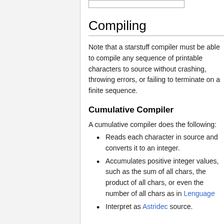Compiling
Note that a starstuff compiler must be able to compile any sequence of printable characters to source without crashing, throwing errors, or failing to terminate on a finite sequence.
Cumulative Compiler
A cumulative compiler does the following:
Reads each character in source and converts it to an integer.
Accumulates positive integer values, such as the sum of all chars, the product of all chars, or even the number of all chars as in Lenguage
Interpret as Astridec source.